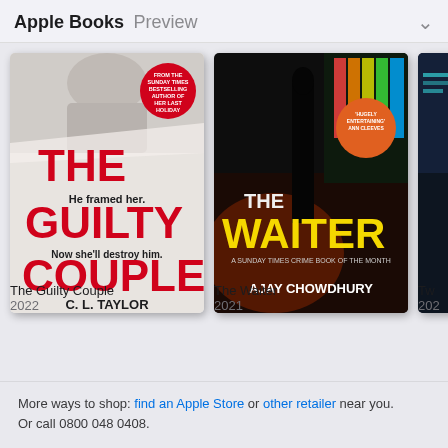Apple Books Preview
[Figure (photo): Book cover: The Guilty Couple by C.L. Taylor, 2022. White cover with red text, tagline 'He framed her. Now she'll destroy him.']
The Guilty Couple
2022
[Figure (photo): Book cover: The Waiter by Ajay Chowdhury, 2021. Dark atmospheric street scene with yellow text.]
The Waiter
2021
[Figure (photo): Partial book cover, third book cropped on right edge, year 202...]
Tw...
202...
More ways to shop: find an Apple Store or other retailer near you. Or call 0800 048 0408.